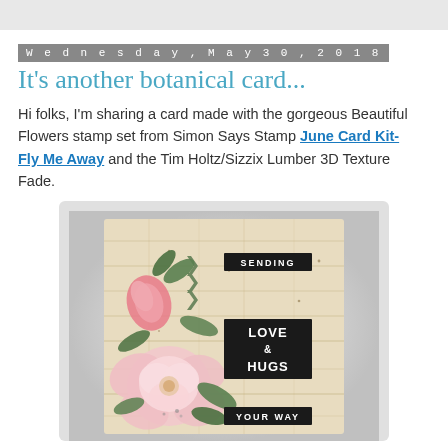Wednesday, May 30, 2018
It's another botanical card...
Hi folks, I'm sharing a card made with the gorgeous Beautiful Flowers stamp set from Simon Says Stamp June Card Kit- Fly Me Away and the Tim Holtz/Sizzix Lumber 3D Texture Fade.
[Figure (photo): A handmade botanical card with a wood-grain textured background. Pink flowers (roses/peonies) and green leaves are stamped on the left side. Black label strips with white text read: 'SENDING' at the top right, 'LOVE & HUGS' in the middle right, and 'YOUR WAY' at the bottom right.]